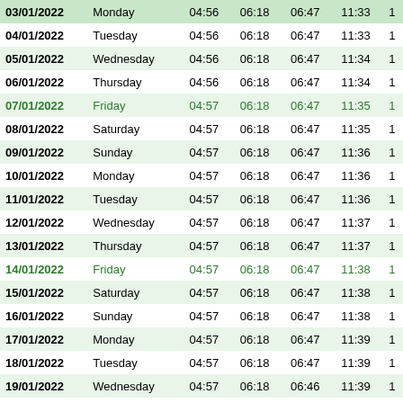| Date | Day | Col3 | Col4 | Col5 | Col6 | Col7 |
| --- | --- | --- | --- | --- | --- | --- |
| 03/01/2022 | Monday | 04:56 | 06:18 | 06:47 | 11:33 | 1 |
| 04/01/2022 | Tuesday | 04:56 | 06:18 | 06:47 | 11:33 | 1 |
| 05/01/2022 | Wednesday | 04:56 | 06:18 | 06:47 | 11:34 | 1 |
| 06/01/2022 | Thursday | 04:56 | 06:18 | 06:47 | 11:34 | 1 |
| 07/01/2022 | Friday | 04:57 | 06:18 | 06:47 | 11:35 | 1 |
| 08/01/2022 | Saturday | 04:57 | 06:18 | 06:47 | 11:35 | 1 |
| 09/01/2022 | Sunday | 04:57 | 06:18 | 06:47 | 11:36 | 1 |
| 10/01/2022 | Monday | 04:57 | 06:18 | 06:47 | 11:36 | 1 |
| 11/01/2022 | Tuesday | 04:57 | 06:18 | 06:47 | 11:36 | 1 |
| 12/01/2022 | Wednesday | 04:57 | 06:18 | 06:47 | 11:37 | 1 |
| 13/01/2022 | Thursday | 04:57 | 06:18 | 06:47 | 11:37 | 1 |
| 14/01/2022 | Friday | 04:57 | 06:18 | 06:47 | 11:38 | 1 |
| 15/01/2022 | Saturday | 04:57 | 06:18 | 06:47 | 11:38 | 1 |
| 16/01/2022 | Sunday | 04:57 | 06:18 | 06:47 | 11:38 | 1 |
| 17/01/2022 | Monday | 04:57 | 06:18 | 06:47 | 11:39 | 1 |
| 18/01/2022 | Tuesday | 04:57 | 06:18 | 06:47 | 11:39 | 1 |
| 19/01/2022 | Wednesday | 04:57 | 06:18 | 06:46 | 11:39 | 1 |
| 20/01/2022 | Thursday | 04:57 | 06:17 | 06:46 | 11:40 | 1 |